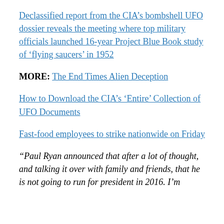Declassified report from the CIA’s bombshell UFO dossier reveals the meeting where top military officials launched 16-year Project Blue Book study of ‘flying saucers’ in 1952
MORE: The End Times Alien Deception
How to Download the CIA’s ‘Entire’ Collection of UFO Documents
Fast-food employees to strike nationwide on Friday
“Paul Ryan announced that after a lot of thought, and talking it over with family and friends, that he is not going to run for president in 2016. I’m